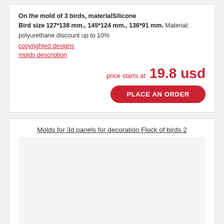On the mold of 3 birds, materialSilicone
Bird size 127*138 mm., 145*124 mm., 136*91 mm. Material: polyurethane discount up to 10%
copyrighted designs
molds description
price starts at 19.8 usd
PLACE AN ORDER
Molds for 3d panels for decoration Flock of birds 2